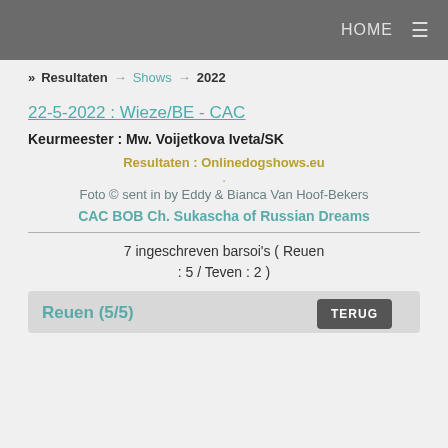HOME ≡
» Resultaten → Shows → 2022
22-5-2022 : Wieze/BE - CAC
Keurmeester : Mw. Voijetkova Iveta/SK
Resultaten : Onlinedogshows.eu
Foto © sent in by Eddy & Bianca Van Hoof-Bekers
CAC BOB Ch. Sukascha of Russian Dreams
7 ingeschreven barsoi's ( Reuen : 5 / Teven : 2 )
Reuen (5/5)